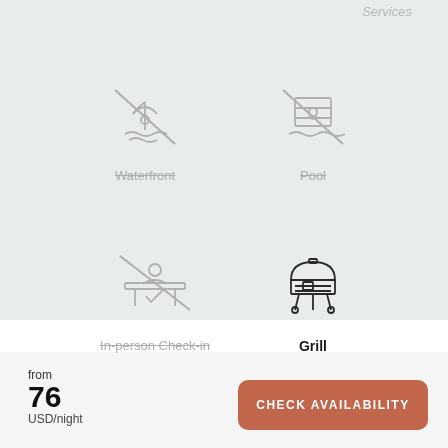Services
[Figure (illustration): Waterfront icon with strikethrough diagonal line, greyed out]
Waterfront
[Figure (illustration): Pool icon with strikethrough diagonal line, greyed out]
Pool
[Figure (illustration): In-person Check-in icon with strikethrough diagonal line, greyed out]
In-person Check-in
[Figure (illustration): Grill icon, active/dark]
Grill
from 76 USD/night
CHECK AVAILABILITY